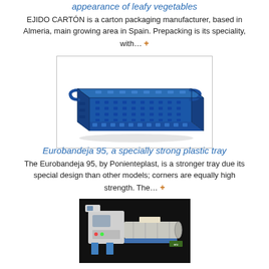appearance of leafy vegetables
EJIDO CARTÓN is a carton packaging manufacturer, based in Almeria, main growing area in Spain. Prepacking is its speciality, with… +
[Figure (photo): Blue plastic perforated vegetable crate/tray with handles]
Eurobandeja 95, a specially strong plastic tray
The Eurobandeja 95, by Ponienteplast, is a stronger tray due its special design than other models; corners are equally high strength. The… +
[Figure (photo): Industrial packaging machine on black background]